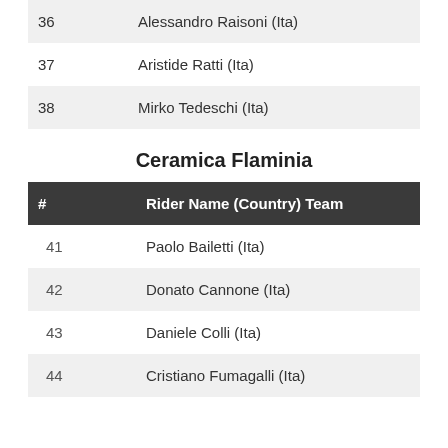| # | Rider Name (Country) Team |
| --- | --- |
| 36 | Alessandro Raisoni (Ita) |
| 37 | Aristide Ratti (Ita) |
| 38 | Mirko Tedeschi (Ita) |
Ceramica Flaminia
| # | Rider Name (Country) Team |
| --- | --- |
| 41 | Paolo Bailetti (Ita) |
| 42 | Donato Cannone (Ita) |
| 43 | Daniele Colli (Ita) |
| 44 | Cristiano Fumagalli (Ita) |